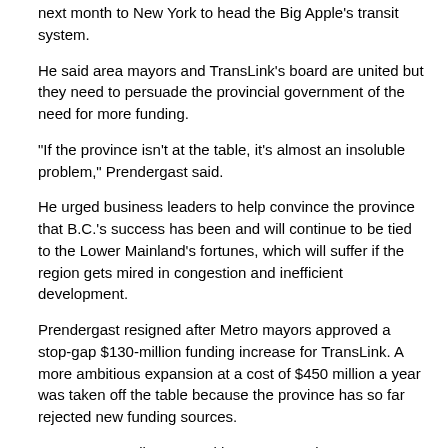next month to New York to head the Big Apple's transit system.
He said area mayors and TransLink's board are united but they need to persuade the provincial government of the need for more funding.
"If the province isn't at the table, it's almost an insoluble problem," Prendergast said.
He urged business leaders to help convince the province that B.C.'s success has been and will continue to be tied to the Lower Mainland's fortunes, which will suffer if the region gets mired in congestion and inefficient development.
Prendergast resigned after Metro mayors approved a stop-gap $130-million funding increase for TransLink. A more ambitious expansion at a cost of $450 million a year was taken off the table because the province has so far rejected new funding sources.
B.C.'s Comptroller General has suggested some cuts could be found by slashing underused bus routes.
Prendergast said some pruning will be needed, but wholesale cuts are unwise, particularly in underserved areas where TransLink has promised improved service and needs to grow ridership.
He said he had not seen it again.